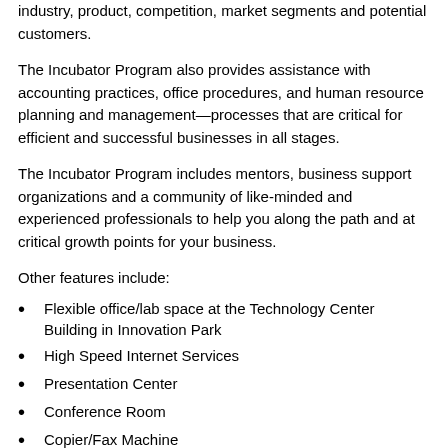industry, product, competition, market segments and potential customers.
The Incubator Program also provides assistance with accounting practices, office procedures, and human resource planning and management—processes that are critical for efficient and successful businesses in all stages.
The Incubator Program includes mentors, business support organizations and a community of like-minded and experienced professionals to help you along the path and at critical growth points for your business.
Other features include:
Flexible office/lab space at the Technology Center Building in Innovation Park
High Speed Internet Services
Presentation Center
Conference Room
Copier/Fax Machine
Mailing/Shipping Services
Local/Cafeteria Restaurant